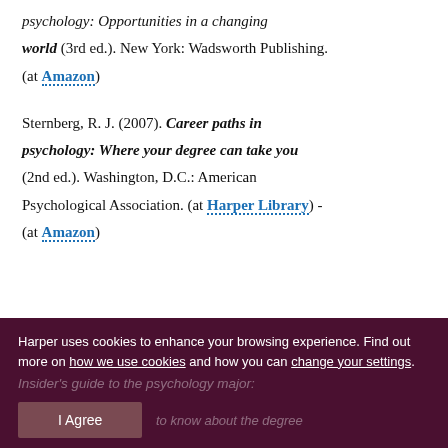psychology: Opportunities in a changing world (3rd ed.). New York: Wadsworth Publishing. (at Amazon)
Sternberg, R. J. (2007). Career paths in psychology: Where your degree can take you (2nd ed.). Washington, D.C.: American Psychological Association. (at Harper Library) - (at Amazon)
Harper uses cookies to enhance your browsing experience. Find out more on how we use cookies and how you can change your settings.